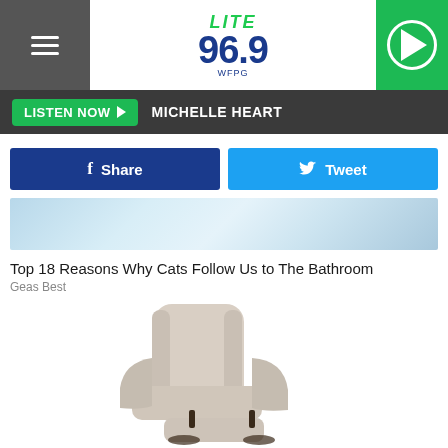[Figure (screenshot): Lite 96.9 WFPG radio station website header with hamburger menu, logo, and play button]
LISTEN NOW  MICHELLE HEART
[Figure (screenshot): Share on Facebook and Tweet buttons]
[Figure (photo): Banner image - blurred blue/white background]
Top 18 Reasons Why Cats Follow Us to The Bathroom
Geas Best
[Figure (photo): Beige leather recliner chair in reclined position]